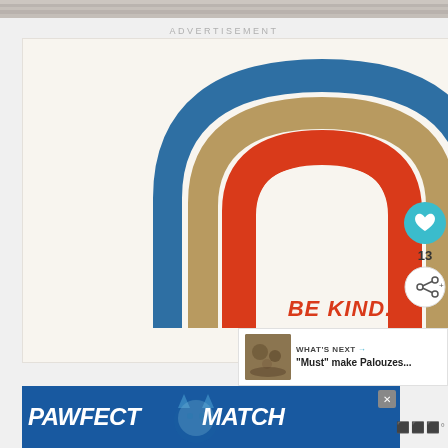[Figure (photo): Top strip showing a blurred fur/fabric texture background]
ADVERTISEMENT
[Figure (illustration): Rainbow arch illustration with three arches in blue, tan/gold, and red/orange colors. Text below reads 'BE KIND.' in red.]
13
WHAT'S NEXT → "Must" make Palouzes...
[Figure (illustration): PAWFECT MATCH banner advertisement with cat silhouette and blue background]